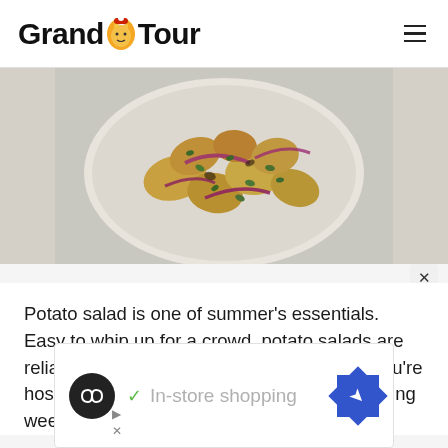Grand Tour
[Figure (photo): Overhead shot of potato salad on a white plate with roasted potatoes, red onion slices, and fresh herbs on a light background]
Potato salad is one of summer's essentials. Easy to whip up for a crowd, potato salads are reliable and so darn delicious. So whether you're hosting or attending a summer party—or getting weeknight dinner on the table—here are
[Figure (other): Advertisement banner showing logo circle with infinity symbol, checkmark, In-store shopping text, and blue diamond navigation arrow icon]